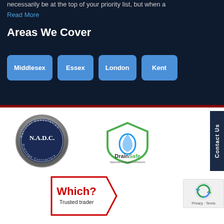necessarily be at the top of your priority list, but when a
Read More
Areas We Cover
Middlesex
Essex
London
Kent
[Figure (logo): N.A.D.C. National Association of Drainage Contractors circular badge with metallic silver border]
[Figure (logo): DrainSafe Approved Drainage Contractors shield logo with blue and green water drop design]
[Figure (logo): Which? Trusted Trader badge with red text and pentagon shape]
[Figure (logo): reCAPTCHA widget with Privacy and Terms text]